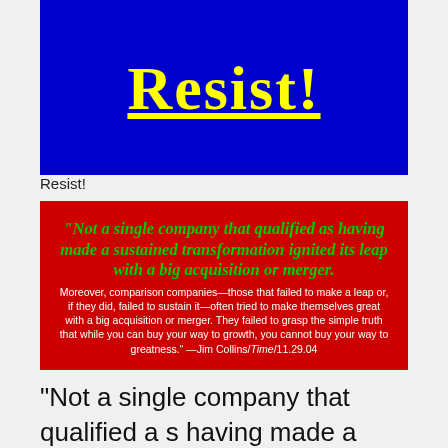[Figure (illustration): Blue rectangle with large yellow underlined text reading 'Resist!' in a graffiti/comic style font]
Resist!
[Figure (infographic): Red rectangle containing a green italic bold quote: '"Not a single company that qualified as having made a sustained transformation ignited its leap with a big acquisition or merger.' followed by white body text continuing the quote ending with attribution to Jim Collins/Time 11.29.04]
"Not a single company that qualified as having made a sustained transformation ignited its leap with a big acquisition or merger. Moreover, comparison companies—those that failed to make a leap or, if they did, failed to sustain it—